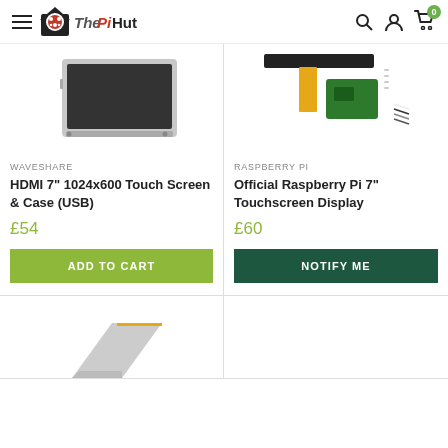The PiHut – navigation header with menu, logo, search, account, cart (0)
[Figure (photo): Product image of HDMI 7" 1024x600 Touch Screen & Case (USB) by Waveshare – tablet-style screen with silver frame]
WAVESHARE
HDMI 7" 1024x600 Touch Screen & Case (USB)
£54
ADD TO CART
[Figure (photo): Product image of Official Raspberry Pi 7" Touchscreen Display – display with ribbon cable, PCB board, and connector cables]
RASPBERRY PI
Official Raspberry Pi 7" Touchscreen Display
£60
NOTIFY ME
[Figure (photo): Partial product image at bottom left – corner of a grey/silver electronic component]
[Figure (photo): Partial product image at bottom right – empty/white placeholder]